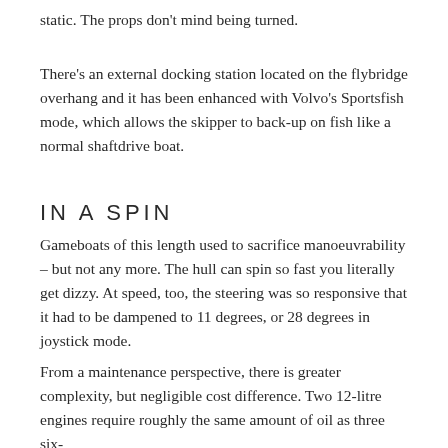static. The props don't mind being turned.
There's an external docking station located on the flybridge overhang and it has been enhanced with Volvo's Sportsfish mode, which allows the skipper to back-up on fish like a normal shaftdrive boat.
IN A SPIN
Gameboats of this length used to sacrifice manoeuvrability – but not any more. The hull can spin so fast you literally get dizzy. At speed, too, the steering was so responsive that it had to be dampened to 11 degrees, or 28 degrees in joystick mode.
From a maintenance perspective, there is greater complexity, but negligible cost difference. Two 12-litre engines require roughly the same amount of oil as three six-